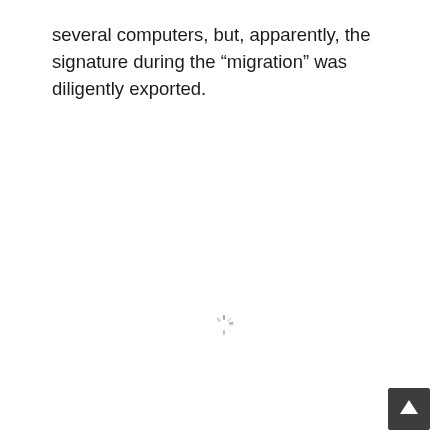several computers, but, apparently, the signature during the “migration” was diligently exported.
[Figure (other): Loading spinner / throbber icon in gray, centered on the page]
[Figure (other): Back-to-top button: dark gray rounded square with white upward chevron arrow, bottom-right corner]